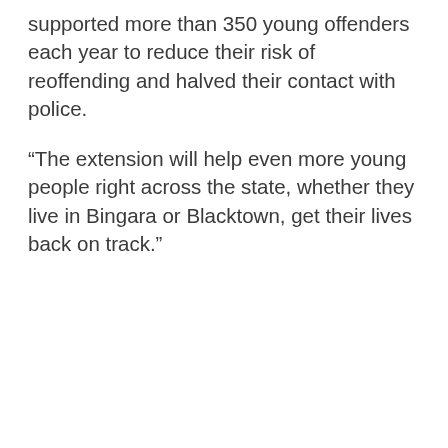supported more than 350 young offenders each year to reduce their risk of reoffending and halved their contact with police.
“The extension will help even more young people right across the state, whether they live in Bingara or Blacktown, get their lives back on track.”